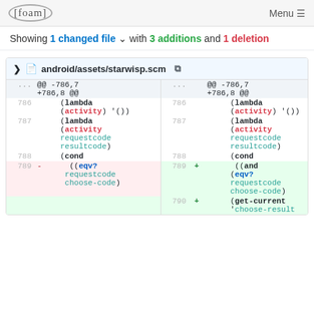[foam] Menu
Showing 1 changed file with 3 additions and 1 deletion
android/assets/starwisp.scm
| old-ln | old-code | new-ln | +/- | new-code |
| --- | --- | --- | --- | --- |
| ... | @@ -786,7 +786,8 @@ | ... |  | @@ -786,7 +786,8 @@ |
| 786 |   (lambda (activity) '()) | 786 |  |   (lambda (activity) '()) |
| 787 |   (lambda (activity requestcode resultcode) | 787 |  |   (lambda (activity requestcode resultcode) |
| 788 |   (cond | 788 |  |   (cond |
| 789 | - ((eqv? requestcode choose-code) | 789 | + | ((and (eqv? requestcode choose-code) |
|  |  | 790 | + | (get-current 'choose-result |